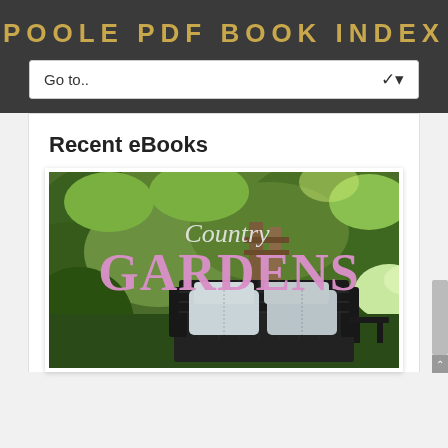POOLE PDF BOOK INDEX
Go to..
Recent eBooks
[Figure (photo): Book cover for 'Country GARDENS' magazine/ebook, showing a lush green garden scene with shrubs and trees, and dark wicker outdoor furniture with light grey cushions in the foreground. The title 'Country Gardens' is displayed in pink/lavender text with 'Country' in a cursive/script font and 'GARDENS' in large bold serif letters.]